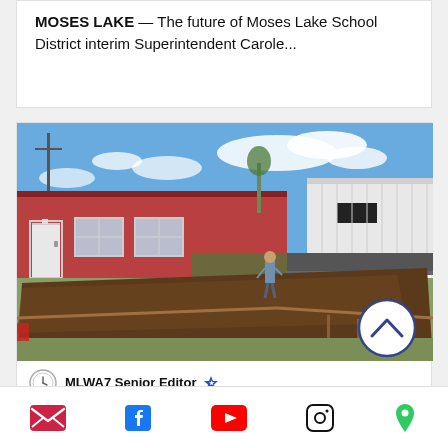MOSES LAKE — The future of Moses Lake School District interim Superintendent Carole...
[Figure (photo): Outdoor construction scene showing a red single-story building with windows and a white door on the left, a large graded dirt area in the foreground, a person walking in the mid-ground, and a white industrial building in the background under a blue sky with clouds. A scroll-up button (chevron up icon in a circle) is overlaid on the bottom right of the photo.]
MLWA7 Senior Editor
Email | Facebook | YouTube | Instagram | Location